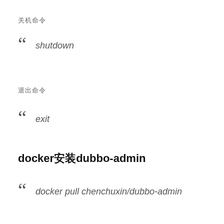关机命令
" shutdown
退出命令
" exit
docker安装dubbo-admin
" docker pull chenchuxin/dubbo-admin